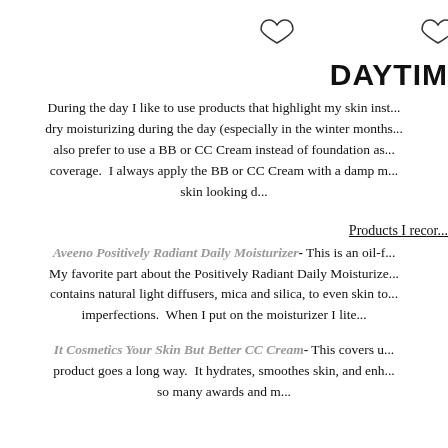[Figure (other): Two heart/like icons in the top area]
DAYTIM
During the day I like to use products that highlight my skin inst... dry moisturizing during the day (especially in the winter months... also prefer to use a BB or CC Cream instead of foundation as... coverage.  I always apply the BB or CC Cream with a damp m... skin looking d...
Products I recor...
Aveeno Positively Radiant Daily Moisturizer- This is an oil-f... My favorite part about the Positively Radiant Daily Moisturize... contains natural light diffusers, mica and silica, to even skin to... imperfections.  When I put on the moisturizer I lite...
It Cosmetics Your Skin But Better CC Cream- This covers u... product goes a long way.  It hydrates, smoothes skin, and enh... so many awards and m...